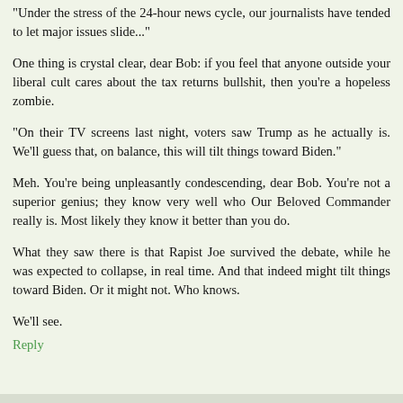"Under the stress of the 24-hour news cycle, our journalists have tended to let major issues slide..."
One thing is crystal clear, dear Bob: if you feel that anyone outside your liberal cult cares about the tax returns bullshit, then you're a hopeless zombie.
"On their TV screens last night, voters saw Trump as he actually is. We'll guess that, on balance, this will tilt things toward Biden."
Meh. You're being unpleasantly condescending, dear Bob. You're not a superior genius; they know very well who Our Beloved Commander really is. Most likely they know it better than you do.
What they saw there is that Rapist Joe survived the debate, while he was expected to collapse, in real time. And that indeed might tilt things toward Biden. Or it might not. Who knows.
We'll see.
Reply